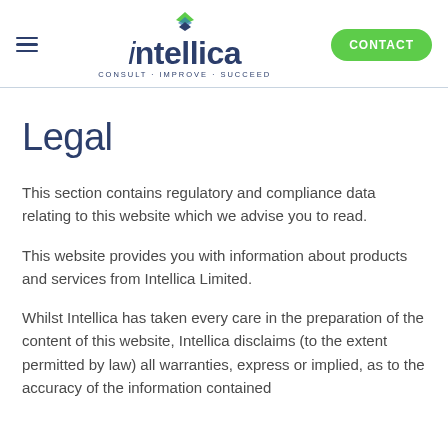[Figure (logo): Intellica logo with hamburger menu icon on left and CONTACT button on right. Logo shows diamond/chevron icon above 'intellica' text with tagline 'CONSULT · IMPROVE · SUCCEED']
Legal
This section contains regulatory and compliance data relating to this website which we advise you to read.
This website provides you with information about products and services from Intellica Limited.
Whilst Intellica has taken every care in the preparation of the content of this website, Intellica disclaims (to the extent permitted by law) all warranties, express or implied, as to the accuracy of the information contained